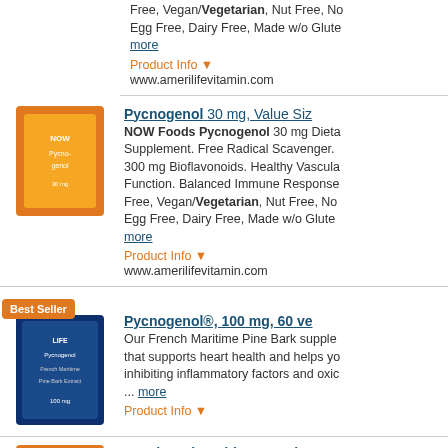Free, Vegan/Vegetarian, Nut Free, Egg Free, Dairy Free, Made w/o Glute... more
Product Info ▼
www.amerilifevitamin.com
Pycnogenol 30 mg, Value Siz...
NOW Foods Pycnogenol 30 mg Dietary Supplement. Free Radical Scavenger. 300 mg Bioflavonoids. Healthy Vascular Function. Balanced Immune Response. Free, Vegan/Vegetarian, Nut Free, Egg Free, Dairy Free, Made w/o Glute... more
Product Info ▼
www.amerilifevitamin.com
Pycnogenol®, 100 mg, 60 ve...
Our French Maritime Pine Bark supplement that supports heart health and helps you by inhibiting inflammatory factors and oxi... ... more
Product Info ▼
"Hyaluronic Acid 50 mg Plus M...
"Hyaluronic Acid 50 mg Plus MSM, 60 ... more